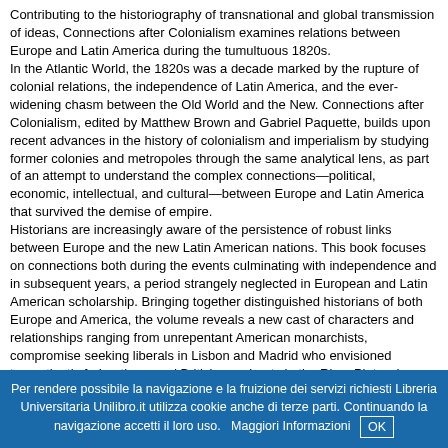Contributing to the historiography of transnational and global transmission of ideas, Connections after Colonialism examines relations between Europe and Latin America during the tumultuous 1820s.
In the Atlantic World, the 1820s was a decade marked by the rupture of colonial relations, the independence of Latin America, and the ever-widening chasm between the Old World and the New. Connections after Colonialism, edited by Matthew Brown and Gabriel Paquette, builds upon recent advances in the history of colonialism and imperialism by studying former colonies and metropoles through the same analytical lens, as part of an attempt to understand the complex connections—political, economic, intellectual, and cultural—between Europe and Latin America that survived the demise of empire.
Historians are increasingly aware of the persistence of robust links between Europe and the new Latin American nations. This book focuses on connections both during the events culminating with independence and in subsequent years, a period strangely neglected in European and Latin American scholarship. Bringing together distinguished historians of both Europe and America, the volume reveals a new cast of characters and relationships ranging from unrepentant American monarchists, compromise seeking liberals in Lisbon and Madrid who envisioned transatlantic federations, and British merchants in the River Plate who saw opportunity where others saw risk to public moralists whose audiences spanned from Paris to Santiago de Chile and plantation owners in eastern Cuba who feared that slave rebellions elsewhere in the Caribbean would spread to their island.
Contributors
Matthew Brown / Will Fowler / Josep M. Fradera / Carrie Gibson / Brian Hamnett / Maurizio Isabella / Iona Macintyre / Scarlett O'Phelan Godoy / Gabriel Paquette / David Rock / Christopher Schmidt-Nowara / Jay
Per rendere possibile la navigazione e la fruizione dei servizi richiesti Libreria Universitaria Unilibro.it utilizza cookie anche di terze parti. Continuando la navigazione accetti il loro uso.   Maggiori Informazioni   OK